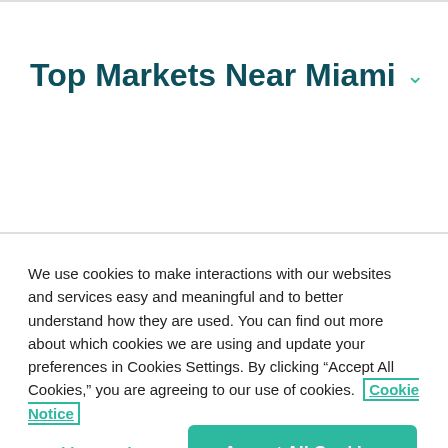Top Markets Near Miami
We use cookies to make interactions with our websites and services easy and meaningful and to better understand how they are used. You can find out more about which cookies we are using and update your preferences in Cookies Settings. By clicking “Accept All Cookies,” you are agreeing to our use of cookies.  Cookie Notice
Cookies Settings
Accept All Cookies